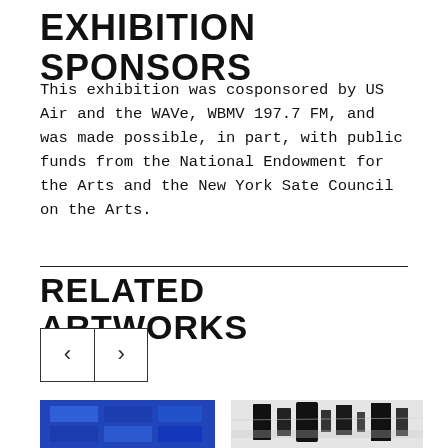EXHIBITION SPONSORS
This exhibition was cosponsored by US Air and the WAVe, WBMV 197.7 FM, and was made possible, in part, with public funds from the National Endowment for the Arts and the New York Sate Council on the Arts.
RELATED ARTWORKS
[Figure (other): Navigation arrows: left chevron and right chevron buttons for browsing related artworks]
[Figure (photo): Two artwork thumbnails: left shows a blue abstract grid composition; right shows a black and white abstract painting with bold brushstrokes]